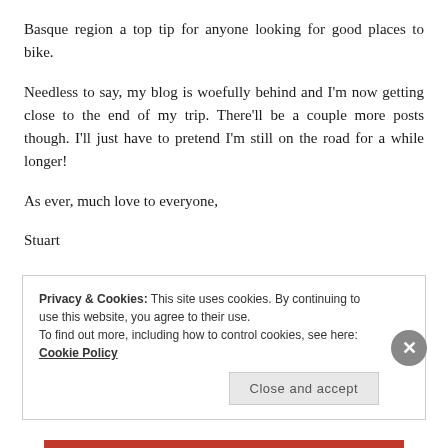Basque region a top tip for anyone looking for good places to bike.
Needless to say, my blog is woefully behind and I'm now getting close to the end of my trip. There'll be a couple more posts though. I'll just have to pretend I'm still on the road for a while longer!
As ever, much love to everyone,
Stuart
Privacy & Cookies: This site uses cookies. By continuing to use this website, you agree to their use.
To find out more, including how to control cookies, see here: Cookie Policy